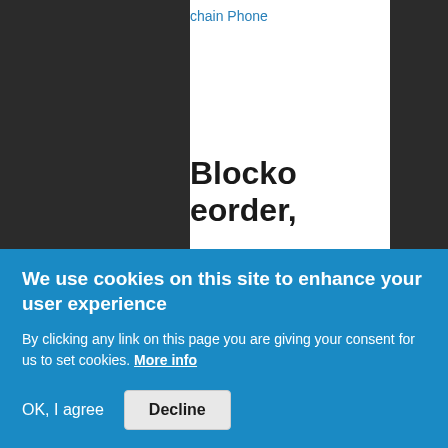chain Phone
Blocko eorder,
[Figure (other): User/person icon silhouette]
naker HTC hain-powe g it the first
We use cookies on this site to enhance your user experience
By clicking any link on this page you are giving your consent for us to set cookies. More info
OK, I agree
Decline